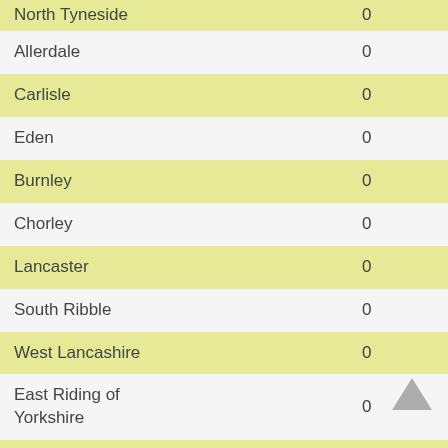| Area | Value |
| --- | --- |
| North Tyneside | 0 |
| Allerdale | 0 |
| Carlisle | 0 |
| Eden | 0 |
| Burnley | 0 |
| Chorley | 0 |
| Lancaster | 0 |
| South Ribble | 0 |
| West Lancashire | 0 |
| East Riding of Yorkshire | 0 |
| North Lincolnshire | 0 |
| Scarborough | 0 |
| Barnsley | 0 |
| Rotherham | 0 |